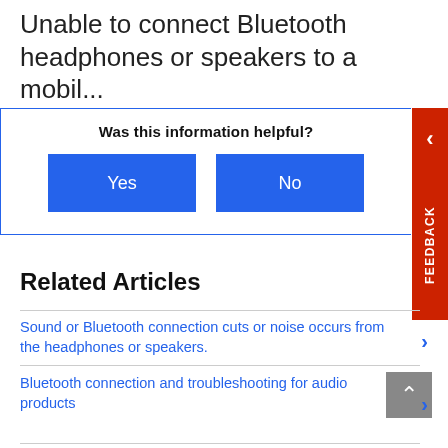Unable to connect Bluetooth headphones or speakers to a mobil...
Was this information helpful?
Yes | No
Related Articles
Sound or Bluetooth connection cuts or noise occurs from the headphones or speakers.
Bluetooth connection and troubleshooting for audio products